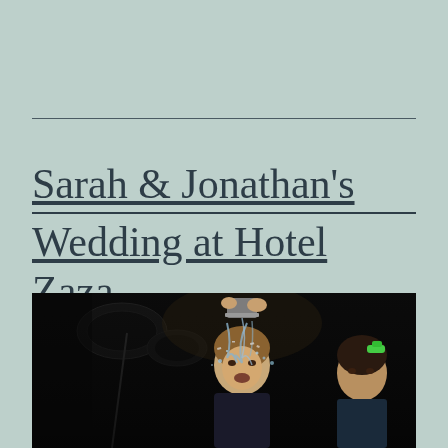Sarah & Jonathan's Wedding at Hotel Zaza Previews
[Figure (photo): A dark reception/party scene showing a person being doused with liquid (confetti or ice) over their head, with a drum kit visible in the background and another person with a green hair accessory visible on the right.]